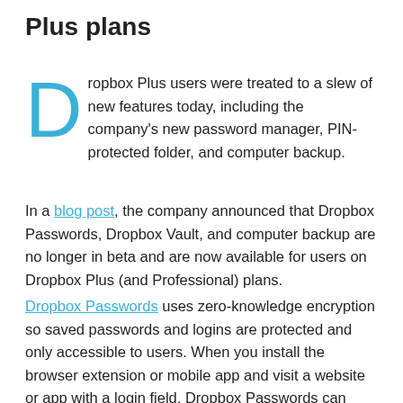Plus plans
Dropbox Plus users were treated to a slew of new features today, including the company's new password manager, PIN-protected folder, and computer backup.
In a blog post, the company announced that Dropbox Passwords, Dropbox Vault, and computer backup are no longer in beta and are now available for users on Dropbox Plus (and Professional) plans.
Dropbox Passwords uses zero-knowledge encryption so saved passwords and logins are protected and only accessible to users. When you install the browser extension or mobile app and visit a website or app with a login field, Dropbox Passwords can autofill your information, making sign-in seamless. Passwords sync across an unlimited number of devices that run Windows